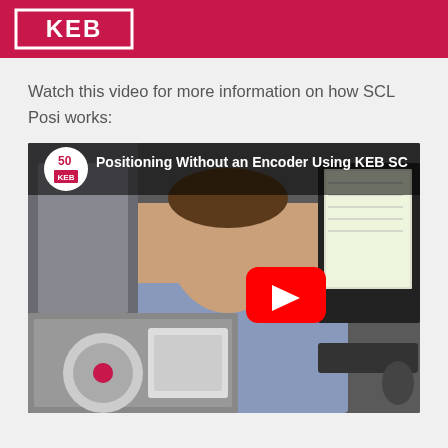[Figure (logo): KEB logo in white text on crimson/red background header bar]
Watch this video for more information on how SCL Posi works:
[Figure (screenshot): YouTube video thumbnail showing a man in a lab/office setting with the title 'Positioning Without an Encoder Using KEB SC...' and a KEB 50th anniversary logo. A YouTube play button is overlaid in the center. Bottom-left shows a KEB motor/encoder device.]